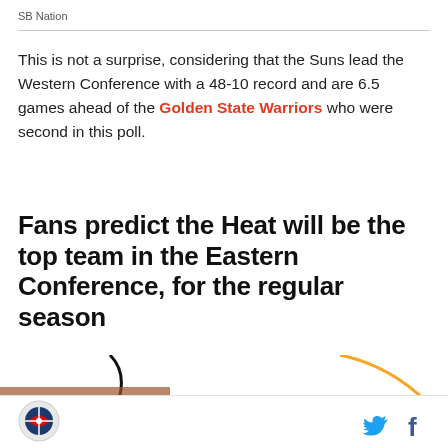SB Nation
This is not a surprise, considering that the Suns lead the Western Conference with a 48-10 record and are 6.5 games ahead of the Golden State Warriors who were second in this poll.
Fans predict the Heat will be the top team in the Eastern Conference, for the regular season
[Figure (photo): Partial image of an NBA-related graphic with orange curved line and a person, with 'NBA FANS RANK' text visible at bottom]
SB Nation logo, Twitter icon, Facebook icon